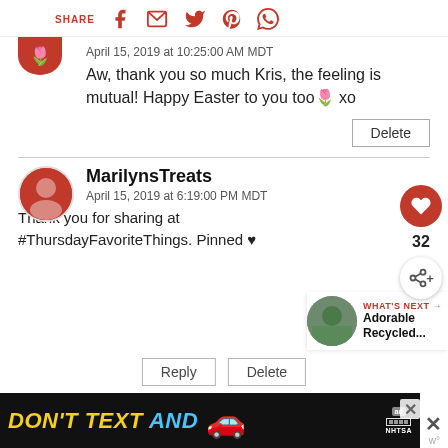SHARE (social share bar with icons: Facebook, Email, Twitter, Pinterest, WhatsApp)
April 15, 2019 at 10:25:00 AM MDT
Aw, thank you so much Kris, the feeling is mutual! Happy Easter to you too🌷 xo
Delete
MarilynsTreats
April 15, 2019 at 6:19:00 PM MDT
Thank you for sharing at #ThursdayFavoriteThings. Pinned ♥
[Figure (screenshot): Advertisement banner: DON'T TEXT AND [car emoji], ad badge, NHTSA logo]